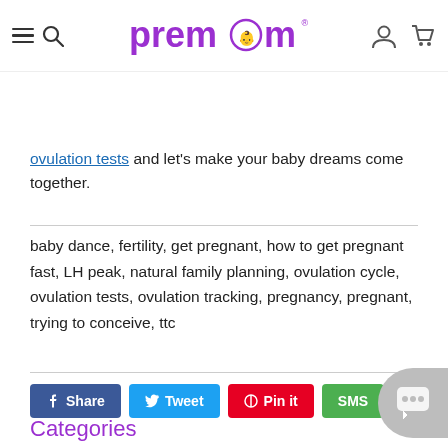[Figure (logo): Premom logo with purple text and circular icon with baby silhouette, with user and cart icons on the right]
ovulation tests and let's make your baby dreams come together.
baby dance, fertility, get pregnant, how to get pregnant fast, LH peak, natural family planning, ovulation cycle, ovulation tests, ovulation tracking, pregnancy, pregnant, trying to conceive, ttc
Share   Tweet   Pin it   SMS
Categories